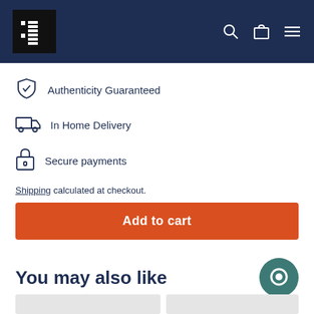ONE52 logo with search, cart, and menu icons
Authenticity Guaranteed
In Home Delivery
Secure payments
Shipping calculated at checkout.
Add to cart
You may also like